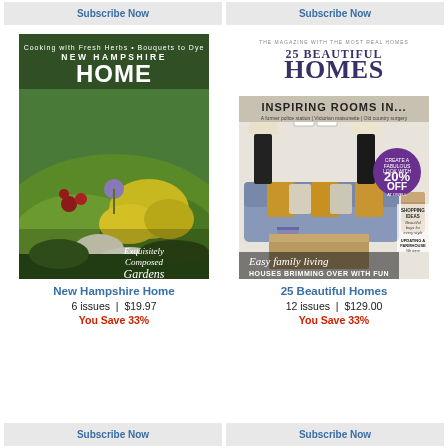Subscribe Now
Subscribe Now
[Figure (illustration): Magazine cover of New Hampshire Home showing a lush garden with wildflowers. Text reads: NEW HAMPSHIRE HOME, Exquisitely Composed Gardens]
[Figure (illustration): Magazine cover of 25 Beautiful Homes. INSPIRING ROOMS IN... Easy family living, HOUSES BRIMMING OVER WITH FUN. 20% OFF badge.]
New Hampshire Home
6 issues   |   $19.97
You Save 33%
25 Beautiful Homes
12 issues   |   $129.00
You Save 33%
Subscribe Now
Subscribe Now